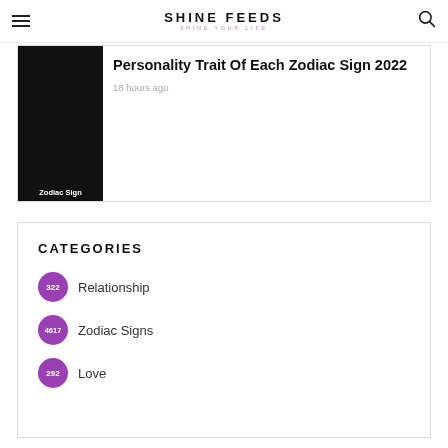SHINE FEEDS — SHINE YOUR LIFE
Personality Trait Of Each Zodiac Sign 2022
18 hours ago
CATEGORIES
322 Relationship
4617 Zodiac Signs
292 Love